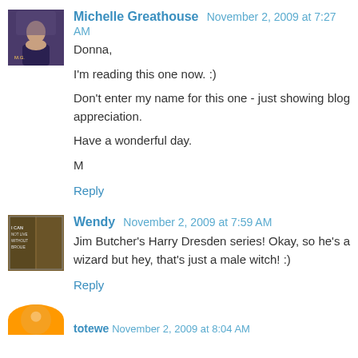[Figure (other): Avatar image for Michelle Greathouse, small square photo]
Michelle Greathouse November 2, 2009 at 7:27 AM
Donna,

I'm reading this one now. :)

Don't enter my name for this one - just showing blog appreciation.

Have a wonderful day.

M
Reply
[Figure (other): Avatar image for Wendy, book cover image]
Wendy November 2, 2009 at 7:59 AM
Jim Butcher's Harry Dresden series! Okay, so he's a wizard but hey, that's just a male witch! :)
Reply
[Figure (other): Partial avatar image for totewe, orange circular avatar]
totewe November 2, 2009 at 8:04 AM